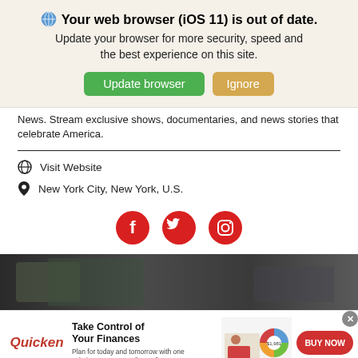Your web browser (iOS 11) is out of date. Update your browser for more security, speed and the best experience on this site.
Update browser | Ignore
News. Stream exclusive shows, documentaries, and news stories that celebrate America.
Visit Website
New York City, New York, U.S.
[Figure (infographic): Three red circular social media icons: Facebook (f), Twitter (bird), Instagram (camera outline)]
[Figure (photo): Dark military/outdoor scene image strip used as ad background]
[Figure (infographic): Quicken advertisement banner: Take Control of Your Finances. Plan for today and tomorrow with one solution to manage all your finances. BUY NOW button.]